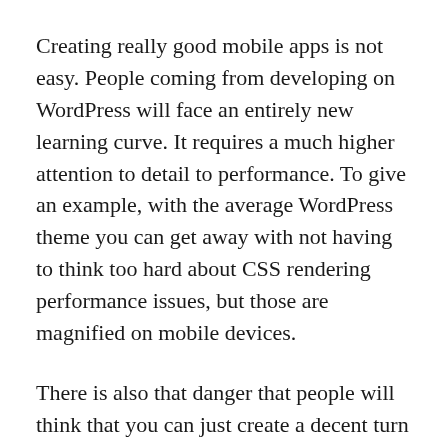Creating really good mobile apps is not easy. People coming from developing on WordPress will face an entirely new learning curve. It requires a much higher attention to detail to performance. To give an example, with the average WordPress theme you can get away with not having to think too hard about CSS rendering performance issues, but those are magnified on mobile devices.
There is also that danger that people will think that you can just create a decent turn key solution now that the tools are here. Just because the tools make it possible, does not make it easy. I predict there will plenty of sluggish apps with less than stellar performance